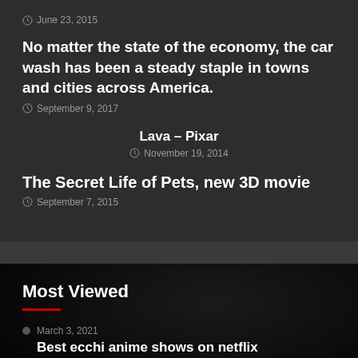June 23, 2015
No matter the state of the economy, the car wash has been a steady staple in towns and cities across America.
September 9, 2017
Lava – Pixar
November 19, 2014
The Secret Life of Pets, new 3D movie
September 7, 2015
Most Viewed
March 3, 2021
Best ecchi anime shows on netflix
June 14, 2021